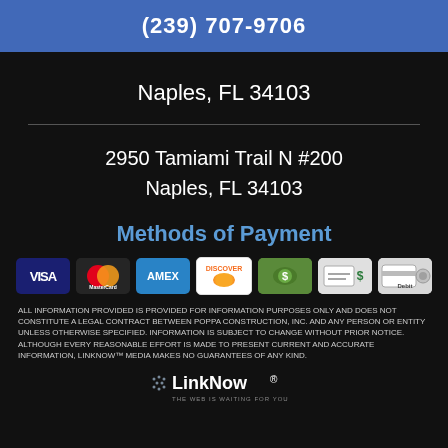(239) 707-9706
Naples, FL 34103
2950 Tamiami Trail N #200
Naples, FL 34103
Methods of Payment
[Figure (infographic): Seven payment method icons: VISA, MasterCard, AMEX, Discover, Cash, Check/Write, Debit]
ALL INFORMATION PROVIDED IS PROVIDED FOR INFORMATION PURPOSES ONLY AND DOES NOT CONSTITUTE A LEGAL CONTRACT BETWEEN POPPA CONSTRUCTION, INC. AND ANY PERSON OR ENTITY UNLESS OTHERWISE SPECIFIED. INFORMATION IS SUBJECT TO CHANGE WITHOUT PRIOR NOTICE. ALTHOUGH EVERY REASONABLE EFFORT IS MADE TO PRESENT CURRENT AND ACCURATE INFORMATION, LINKNOW™ MEDIA MAKES NO GUARANTEES OF ANY KIND.
[Figure (logo): LinkNow Media logo with tagline THE WEB IS WAITING FOR YOU]